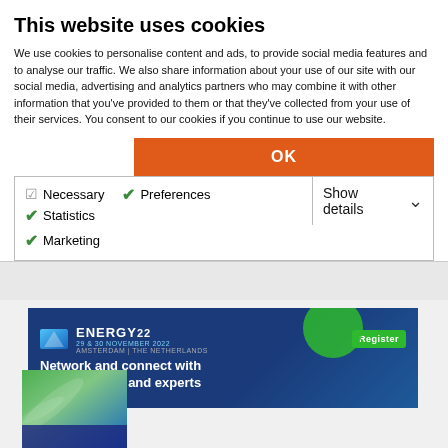This website uses cookies
We use cookies to personalise content and ads, to provide social media features and to analyse our traffic. We also share information about your use of our site with our social media, advertising and analytics partners who may combine it with other information that you've provided to them or that they've collected from your use of their services. You consent to our cookies if you continue to use our website.
OK
Necessary  Preferences  Statistics  Marketing  Show details
[Figure (screenshot): ENERGY22 Amsterdam conference banner with text 'Network and connect with professionals and experts' and a green Register button]
[Figure (photo): Green and blue abstract image, partial view at bottom of page]